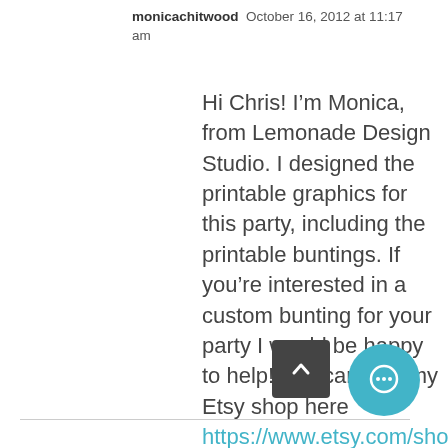monicachitwood  October 16, 2012 at 11:17 am
Hi Chris! I’m Monica, from Lemonade Design Studio. I designed the printable graphics for this party, including the printable buntings. If you’re interested in a custom bunting for your party I would be happy to help! You can visit my Etsy shop here https://www.etsy.com/shop/Lemon or message me through my FB page here https://www.faceb…ona